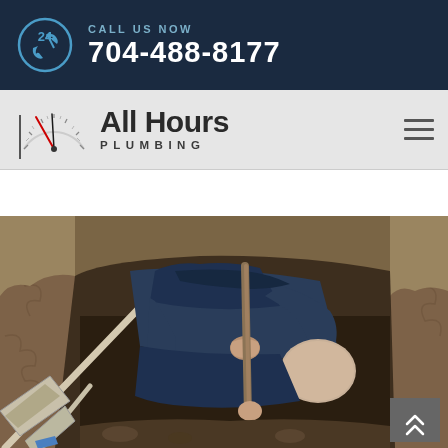CALL US NOW 704-488-8177
[Figure (logo): All Hours Plumbing logo with speedometer graphic]
[Figure (photo): Plumber working in a dirt excavation hole, digging with a shovel. Person in dark blue clothing bent over in trench. Shovels and tools visible in foreground.]